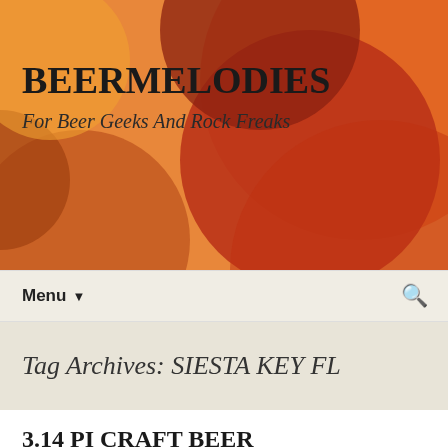[Figure (illustration): Abstract decorative header banner with overlapping circles in orange, red, and dark red tones on an orange background]
BEERMELODIES
For Beer Geeks And Rock Freaks
Menu ▼  🔍
Tag Archives: SIESTA KEY FL
3.14 PI CRAFT BEER